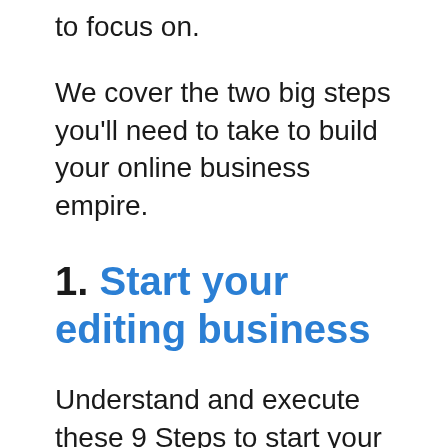to focus on.
We cover the two big steps you'll need to take to build your online business empire.
1. Start your editing business
Understand and execute these 9 Steps to start your online editing business from home.